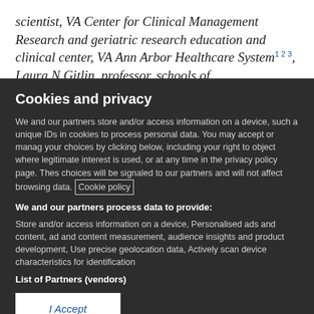scientist, VA Center for Clinical Management Research and geriatric research education and clinical center, VA Ann Arbor Healthcare System¹²³, Laura N Gitlin, professor, schools of
Cookies and privacy
We and our partners store and/or access information on a device, such as unique IDs in cookies to process personal data. You may accept or manage your choices by clicking below, including your right to object where legitimate interest is used, or at any time in the privacy policy page. These choices will be signaled to our partners and will not affect browsing data. Cookie policy
We and our partners process data to provide:
Store and/or access information on a device, Personalised ads and content, ad and content measurement, audience insights and product development, Use precise geolocation data, Actively scan device characteristics for identification
List of Partners (vendors)
I Accept